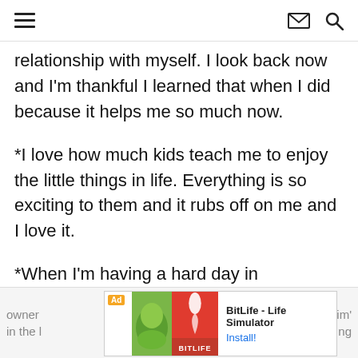[hamburger menu icon] [envelope icon] [search icon]
relationship with myself.  I look back now and I'm thankful I learned that when I did because it helps me so much now.
*I love how much kids teach me to enjoy the little things in life.  Everything is so exciting to them and it rubs off on me and I love it.
*When I'm having a hard day in motherhood, I remind myself that I CHOSE this direction in life, and for some reason when I remind myself that, it helps me to take
owner                                                                                ctim'
in the l                                                                              ng